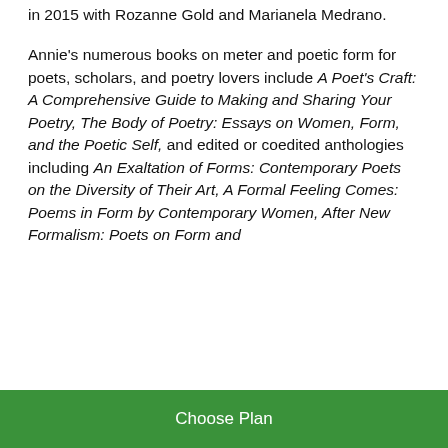in 2015 with Rozanne Gold and Marianela Medrano.
Annie's numerous books on meter and poetic form for poets, scholars, and poetry lovers include A Poet's Craft: A Comprehensive Guide to Making and Sharing Your Poetry, The Body of Poetry: Essays on Women, Form, and the Poetic Self, and edited or coedited anthologies including An Exaltation of Forms: Contemporary Poets on the Diversity of Their Art, A Formal Feeling Comes: Poems in Form by Contemporary Women, After New Formalism: Poets on Form and
Choose Plan